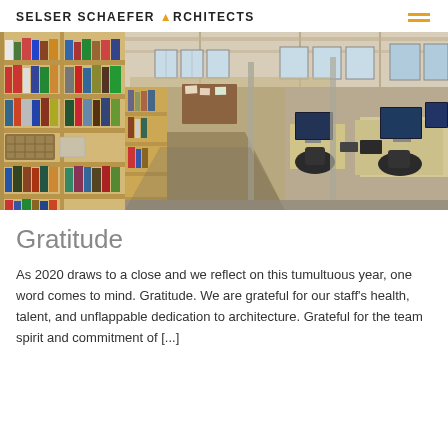SELSER SCHAEFER ARCHITECTS
[Figure (photo): Interior of an architectural office/studio with wooden bookshelves filled with books and binders on the left, and open-plan workstations with computers on the right, under an industrial ceiling with large windows letting in natural light.]
Gratitude
As 2020 draws to a close and we reflect on this tumultuous year, one word comes to mind. Gratitude. We are grateful for our staff's health, talent, and unflappable dedication to architecture. Grateful for the team spirit and commitment of [...]